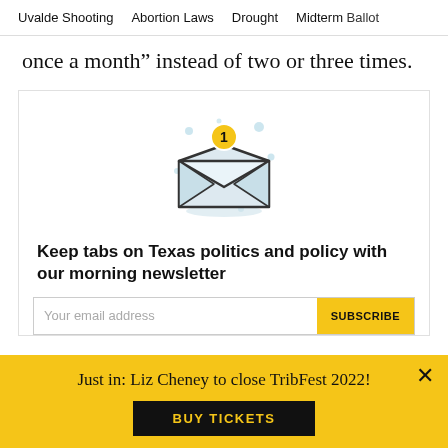Uvalde Shooting   Abortion Laws   Drought   Midterm Ballot
once a month” instead of two or three times.
[Figure (illustration): Envelope icon with a notification badge showing number 1, surrounded by small dots and sparkles on a white background inside a card.]
Keep tabs on Texas politics and policy with our morning newsletter
Your email address
SUBSCRIBE
Just in: Liz Cheney to close TribFest 2022!
BUY TICKETS